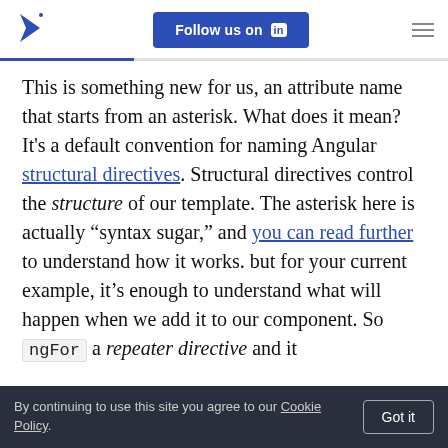Follow us on LinkedIn
This is something new for us, an attribute name that starts from an asterisk. What does it mean? It’s a default convention for naming Angular structural directives. Structural directives control the structure of our template. The asterisk here is actually “syntax sugar,” and you can read further to understand how it works. but for your current example, it’s enough to understand what will happen when we add it to our component. So ngFor a repeater directive and it
By continuing to use this site you agree to our Cookie Policy. Got it